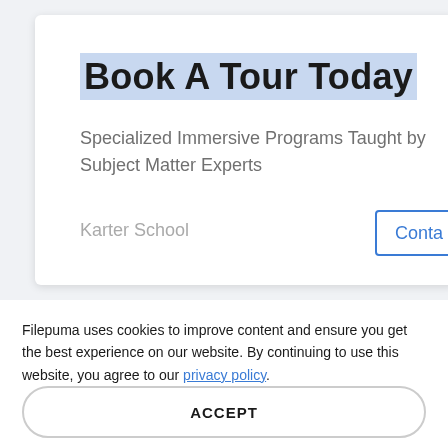Book A Tour Today
Specialized Immersive Programs Taught by Subject Matter Experts
Karter School
Contact
Filepuma uses cookies to improve content and ensure you get the best experience on our website. By continuing to use this website, you agree to our privacy policy.
ACCEPT